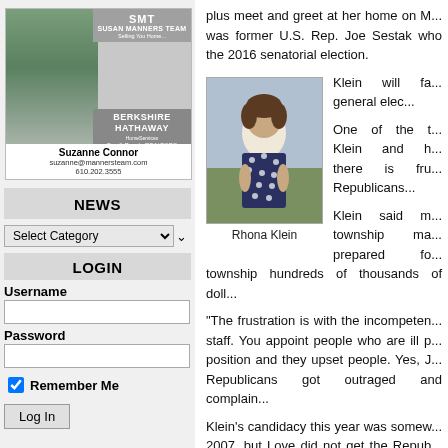[Figure (photo): Advertisement photo for Suzanne Connor, Berkshire Hathaway realtor, SMT Susan Manners Team]
NEWS
Select Category
LOGIN
Username
Password
Remember Me
Log In
plus meet and greet at her home on M... was former U.S. Rep. Joe Sestak who... the 2016 senatorial election.
[Figure (photo): Photo of Rhona Klein]
Rhona Klein
Klein will fa... general elec...
One of the t... Klein and h... there is fru... Republicans...
Klein said m... township ma... prepared fo... township hundreds of thousands of doll...
“The frustration is with the incompeten... staff. You appoint people who are ill p... position and they upset people. Yes, J... Republicans got outraged and complain...
Klein’s candidacy this year was somew... 2007, but Love did not get the Repub... endorsement went to Murphy instead...